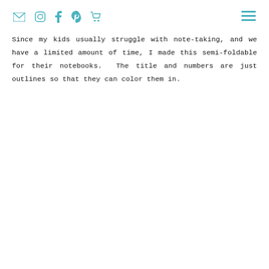Social icons (email, instagram, facebook, pinterest, cart) and hamburger menu
Since my kids usually struggle with note-taking, and we have a limited amount of time, I made this semi-foldable for their notebooks.  The title and numbers are just outlines so that they can color them in.
[Figure (illustration): A semi-foldable worksheet with 3 rows. Row 1: outline number 6 on the left, text on right: 'If a number is divisible by 2 and 3, then it is divisible by 6.' Row 2: outline number 9 on the left, text on right: 'Add up all the digits in the number. Ex. 18 -> 1 + 8 = 9. 9 divided by 9 = 1. If 9 can divide the sum, then it can divide the number too!' Row 3: outline number 10 on the left, text on right: 'Any number that ends in 0 is divisible by 10.']